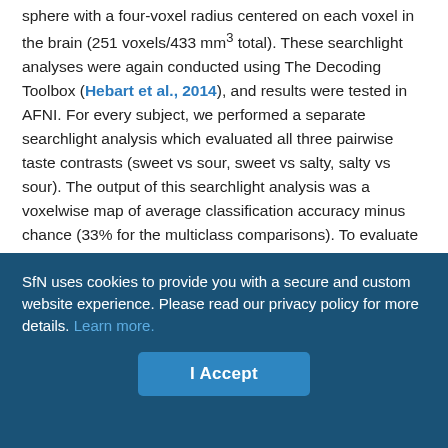sphere with a four-voxel radius centered on each voxel in the brain (251 voxels/433 mm³ total). These searchlight analyses were again conducted using The Decoding Toolbox (Hebart et al., 2014), and results were tested in AFNI. For every subject, we performed a separate searchlight analysis which evaluated all three pairwise taste contrasts (sweet vs sour, sweet vs salty, salty vs sour). The output of this searchlight analysis was a voxelwise map of average classification accuracy minus chance (33% for the multiclass comparisons). To evaluate the classification results at the group level, we warped the resulting classification maps to Talairach atlas space, and applied a small amount (2.4 mm FWHM) of spatial smoothing to normalize the distribution of scores across the dataset. We then performed group-level random-effects analyses using the
SfN uses cookies to provide you with a secure and custom website experience. Please read our privacy policy for more details. Learn more.